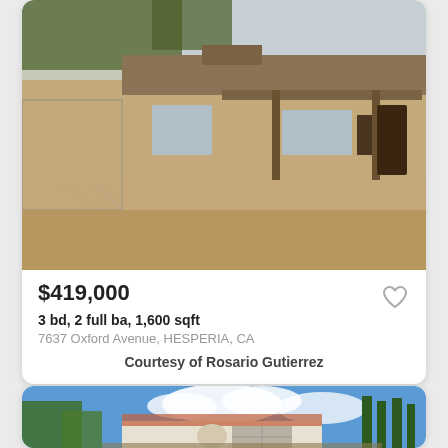[Figure (photo): Exterior photo of a single-story ranch-style house with tan/beige stucco walls, a covered porch with wooden support posts, chain-link fence on the left, gravel/dirt front yard, and trees visible above the roofline.]
$419,000
3 bd, 2 full ba, 1,600 sqft
7637 Oxford Avenue, HESPERIA, CA
Courtesy of Rosario Gutierrez
[Figure (photo): Exterior photo of a white Spanish-style single-story house with red tile roof accents, arched entryway, two-car garage, tall cypress trees on the right, green trees on the left, and a bright blue sky with white clouds.]